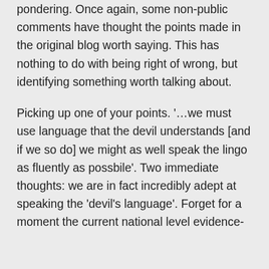pondering. Once again, some non-public comments have thought the points made in the original blog worth saying. This has nothing to do with being right of wrong, but identifying something worth talking about.
Picking up one of your points. '…we must use language that the devil understands [and if we so do] we might as well speak the lingo as fluently as possbile'. Two immediate thoughts: we are in fact incredibly adept at speaking the 'devil's language'. Forget for a moment the current national level evidence-